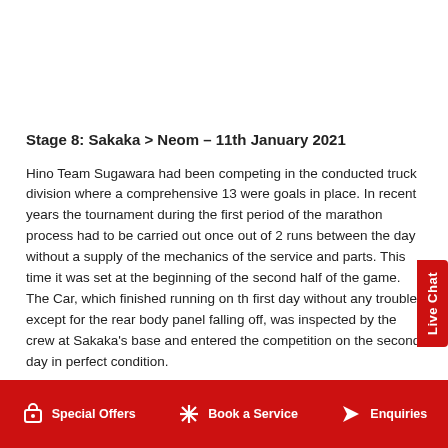Stage 8: Sakaka > Neom – 11th January 2021
Hino Team Sugawara had been competing in the conducted truck division where a comprehensive 13 were goals in place. In recent years the tournament during the first period of the marathon process had to be carried out once out of 2 runs between the day without a supply of the mechanics of the service and parts. This time it was set at the beginning of the second half of the game. The Car, which finished running on th first day without any trouble except for the rear body panel falling off, was inspected by the crew at Sakaka's base and entered the competition on the second day in perfect condition.
Special Offers   Book a Service   Enquiries